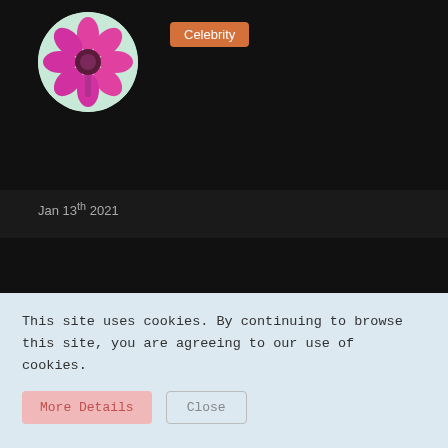[Figure (photo): Profile image of a pink flower on a light green circular background, with a black banner background and an orange 'Celebrity' badge]
Jan 13th 2021
What is the akorns for? and points for? how to get akorns?
👍 ×1
This site uses cookies. By continuing to browse this site, you are agreeing to our use of cookies.
More Details   Close